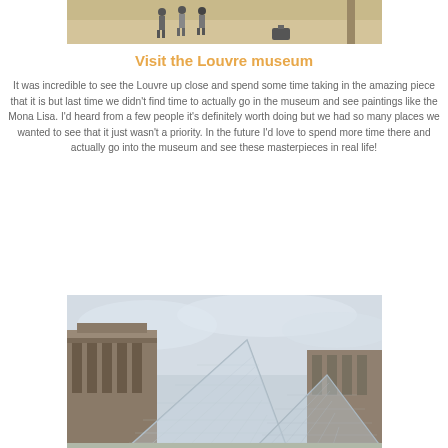[Figure (photo): Top portion of a photo showing people walking in an open plaza area, partially cropped]
Visit the Louvre museum
It was incredible to see the Louvre up close and spend some time taking in the amazing piece that it is but last time we didn't find time to actually go in the museum and see paintings like the Mona Lisa. I'd heard from a few people it's definitely worth doing but we had so many places we wanted to see that it just wasn't a priority. In the future I'd love to spend more time there and actually go into the museum and see these masterpieces in real life!
[Figure (photo): Photo of the Louvre museum glass pyramid structure with classical building visible in the background, taken from below looking up]